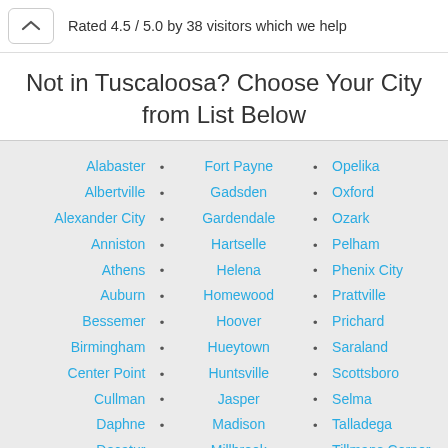Rated 4.5 / 5.0 by 38 visitors which we help
Not in Tuscaloosa? Choose Your City from List Below
Alabaster
Fort Payne
Opelika
Albertville
Gadsden
Oxford
Alexander City
Gardendale
Ozark
Anniston
Hartselle
Pelham
Athens
Helena
Phenix City
Auburn
Homewood
Prattville
Bessemer
Hoover
Prichard
Birmingham
Hueytown
Saraland
Center Point
Huntsville
Scottsboro
Cullman
Jasper
Selma
Daphne
Madison
Talladega
Decatur
Millbrook
Tillmans Corner